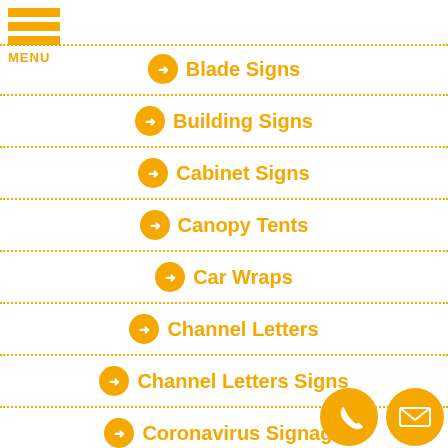[Figure (logo): Hamburger menu icon with three orange bars and MENU label]
Blade Signs
Building Signs
Cabinet Signs
Canopy Tents
Car Wraps
Channel Letters
Channel Letters Signs
Coronavirus Signage
[Figure (illustration): Phone contact button (orange circle with phone icon) and email contact button (orange circle with envelope icon)]